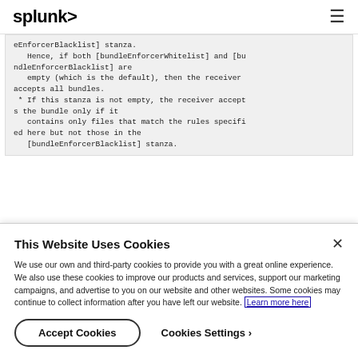splunk> ☰
eEnforcerBlacklist] stanza.
   Hence, if both [bundleEnforcerWhitelist] and [bundleEnforcerBlacklist] are
   empty (which is the default), then the receiver accepts all bundles.
 * If this stanza is not empty, the receiver accepts the bundle only if it
   contains only files that match the rules specified here but not those in the
   [bundleEnforcerBlacklist] stanza.
This Website Uses Cookies
We use our own and third-party cookies to provide you with a great online experience. We also use these cookies to improve our products and services, support our marketing campaigns, and advertise to you on our website and other websites. Some cookies may continue to collect information after you have left our website. Learn more here
Accept Cookies   Cookies Settings ›